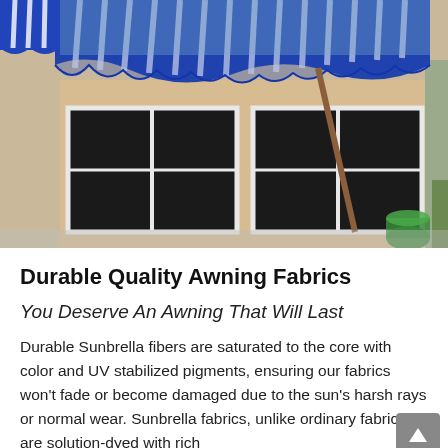[Figure (photo): Photograph of blue and white striped awnings mounted over windows on a beige stucco building exterior, with a wooden support pole visible and a green bucket in the lower right corner.]
Durable Quality Awning Fabrics
You Deserve An Awning That Will Last
Durable Sunbrella fibers are saturated to the core with color and UV stabilized pigments, ensuring our fabrics won't fade or become damaged due to the sun's harsh rays or normal wear. Sunbrella fabrics, unlike ordinary fabrics, are solution-dyed with rich